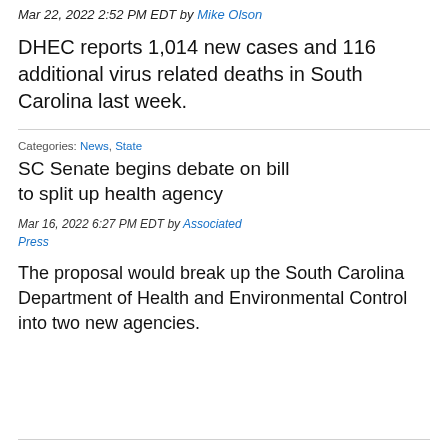Mar 22, 2022 2:52 PM EDT by Mike Olson
DHEC reports 1,014 new cases and 116 additional virus related deaths in South Carolina last week.
Categories: News, State
SC Senate begins debate on bill to split up health agency
Mar 16, 2022 6:27 PM EDT by Associated Press
The proposal would break up the South Carolina Department of Health and Environmental Control into two new agencies.